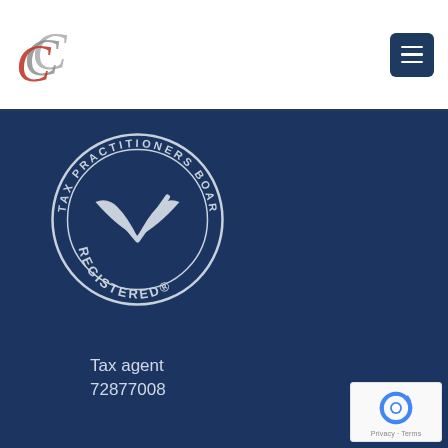[Figure (logo): CCC triple-C logo in grey and red script]
[Figure (logo): Tax Practitioners Board Registered circular badge with checkmark]
Tax agent
72877008
[Figure (logo): reCAPTCHA badge with Privacy and Terms links]